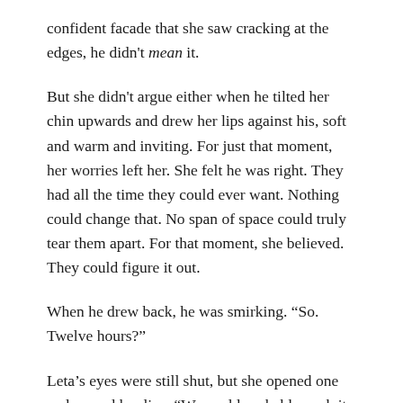confident facade that she saw cracking at the edges, he didn't mean it.
But she didn't argue either when he tilted her chin upwards and drew her lips against his, soft and warm and inviting. For just that moment, her worries left her. She felt he was right. They had all the time they could ever want. Nothing could change that. No span of space could truly tear them apart. For that moment, she believed. They could figure it out.
When he drew back, he was smirking. “So. Twelve hours?”
Leta’s eyes were still shut, but she opened one and pursed her lips. “We could probably push it to thirteen.”
A grin spread over his face. “That’s what I like to hear.” But instead of deepening the kiss, instead of pulling her towards the cot and sliding his hands under her shirt and down her back as she’d expected, he drew away and started rustling